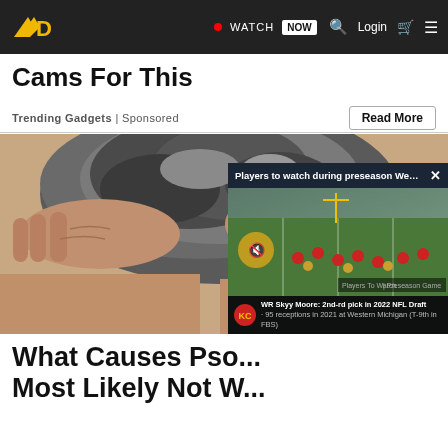WATCH NOW | Login | [cart] [menu]
Cams For This
Trending Gadgets | Sponsored
Read More
[Figure (photo): Person with gray/curly hair and wrinkled hands on head, viewed from behind/side]
[Figure (screenshot): Video popup: 'Players to watch during preseason Wee...' with football field footage showing players in red uniforms, mute button, KC Chiefs logo, and lower bar reading 'WR Skyy Moore: 2nd-rd pick in 2022 NFL Draft - 95 receptions in 2021 at Western Michigan (T-9th in FBS)']
What Causes Pso... Most Likely Not W...